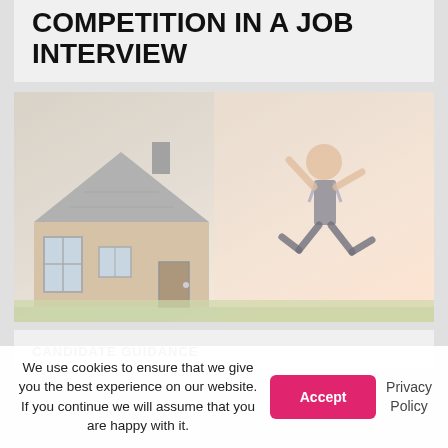COMPETITION IN A JOB INTERVIEW
[Figure (photo): A person jumping joyfully in front of a house, faded/washed-out style photo]
CANDIDATE GUIDANCE
We use cookies to ensure that we give you the best experience on our website. If you continue we will assume that you are happy with it.
Accept
Privacy Policy